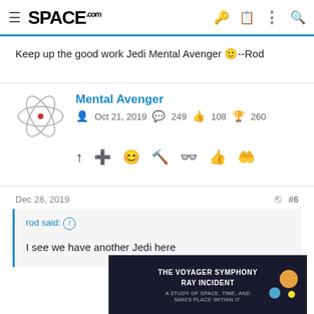SPACE.com
Keep up the good work Jedi Mental Avenger 🙂--Rod
Mental Avenger
Oct 21, 2019  249  108  260
Dec 28, 2019
#6
rod said: ↑
I see we have another Jedi here
[Figure (screenshot): Ad banner: THE VOYAGER SYMPHONY RAY INCIDENT - A STUDY OF SPACE, TIME, AND MAN'S PLACE WITHIN IT]